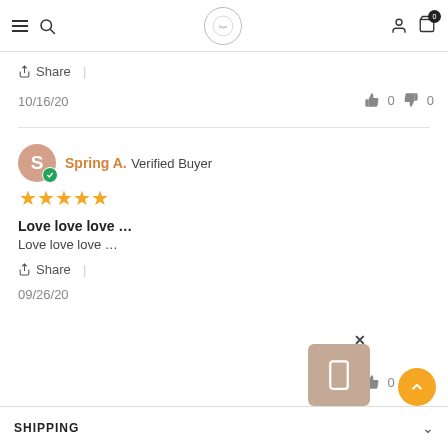Navigation header with menu, search, logo, user, and cart icons
Share |
10/16/20   👍 0   👎 0
Spring A. Verified Buyer ★★★★★
Love love love …
Love love love …
Share |
09/26/20   👍 0   👎 0
SHIPPING